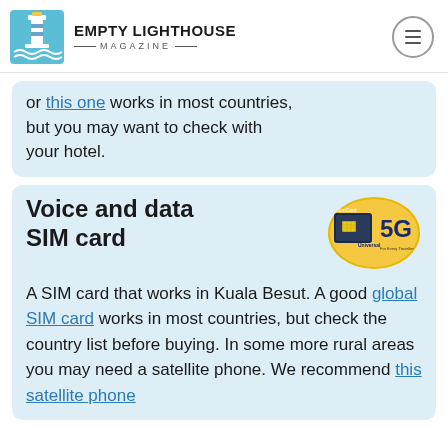EMPTY LIGHTHOUSE MAGAZINE
or this one works in most countries, but you may want to check with your hotel.
Voice and data SIM card
[Figure (photo): A gold 5G universal SIM card product image]
A SIM card that works in Kuala Besut. A good global SIM card works in most countries, but check the country list before buying. In some more rural areas you may need a satellite phone. We recommend this satellite phone